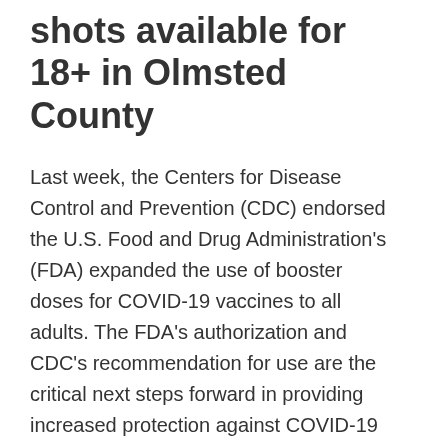shots available for 18+ in Olmsted County
Last week, the Centers for Disease Control and Prevention (CDC) endorsed the U.S. Food and Drug Administration's (FDA) expanded the use of booster doses for COVID-19 vaccines to all adults. The FDA's authorization and CDC's recommendation for use are the critical next steps forward in providing increased protection against COVID-19 disease and death.